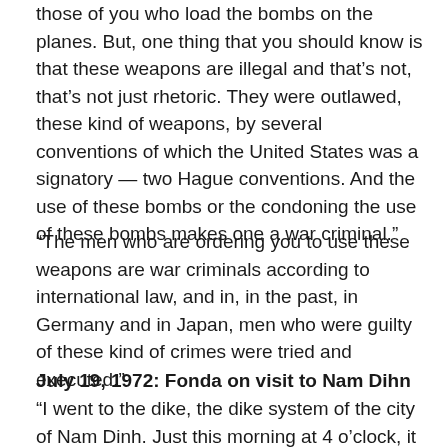those of you who load the bombs on the planes. But, one thing that you should know is that these weapons are illegal and that’s not, that’s not just rhetoric. They were outlawed, these kind of weapons, by several conventions of which the United States was a signatory — two Hague conventions. And the use of these bombs or the condoning the use of these bombs makes one a war criminal.”
“The men who are ordering you to use these weapons are war criminals according to international law, and in, in the past, in Germany and in Japan, men who were guilty of these kind of crimes were tried and executed.”
July 19, 1972: Fonda on visit to Nam Dihn
“I went to the dike, the dike system of the city of Nam Dinh. Just this morning at 4 o’clock, it was bombed again, and I was told that nearby, after we left the city, it was bombed again.